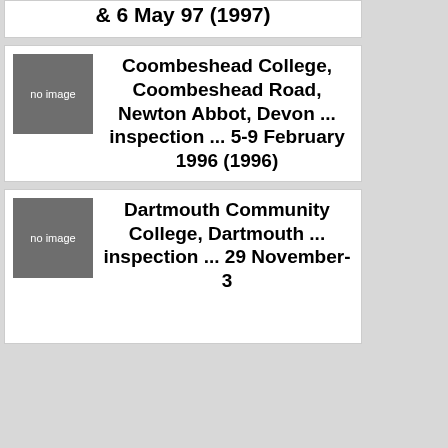& 6 May 97 (1997)
[Figure (other): no image placeholder box]
Coombeshead College, Coombeshead Road, Newton Abbot, Devon ... inspection ... 5-9 February 1996 (1996)
[Figure (other): no image placeholder box]
Dartmouth Community College, Dartmouth ... inspection ... 29 November-3